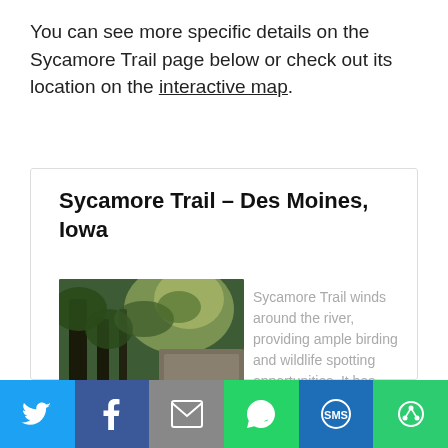You can see more specific details on the Sycamore Trail page below or check out its location on the interactive map.
Sycamore Trail – Des Moines, Iowa
[Figure (photo): Photo of Sycamore Trail showing trees and a trail path with text overlay 'Sycamore Trail' and a compass icon]
Sycamore Trail winds around the river, providing ample birding and wildlife spotting opportunities. It has … Continue reading